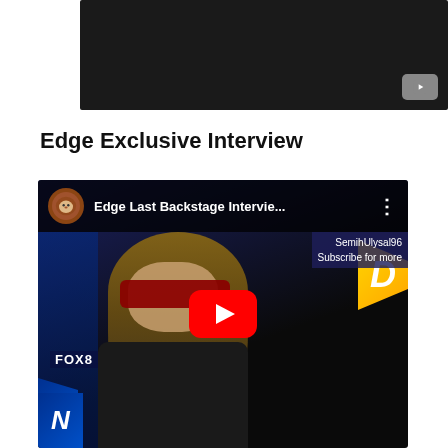[Figure (screenshot): Top embedded YouTube video player showing a black/dark background with a YouTube logo button in the bottom right corner]
Edge Exclusive Interview
[Figure (screenshot): YouTube video embed thumbnail showing Edge (WWE wrestler) with long hair and red sunglasses, in front of FOX8 SmackDown backdrop. Video title 'Edge Last Backstage Intervie...' with channel SemihUlysal96 and YouTube play button overlay.]